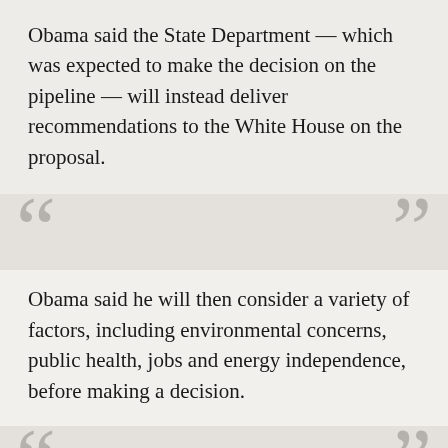Obama said the State Department — which was expected to make the decision on the pipeline — will instead deliver recommendations to the White House on the proposal.
Obama said he will then consider a variety of factors, including environmental concerns, public health, jobs and energy independence, before making a decision.
“The State Department’s in charge of analyzing this, because there’s a pipeline coming in from Canada,” Obama told KETV’s Rob McCartney in the White House. “They’ll be giving me a report over the next